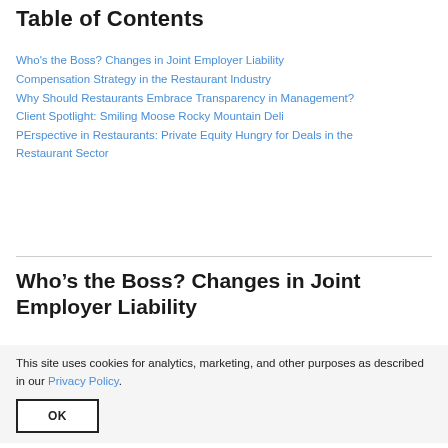Table of Contents
Who's the Boss? Changes in Joint Employer Liability
Compensation Strategy in the Restaurant Industry
Why Should Restaurants Embrace Transparency in Management?
Client Spotlight: Smiling Moose Rocky Mountain Deli
PErspective in Restaurants: Private Equity Hungry for Deals in the Restaurant Sector
Who’s the Boss? Changes in Joint Employer Liability
This site uses cookies for analytics, marketing, and other purposes as described in our Privacy Policy.
OK